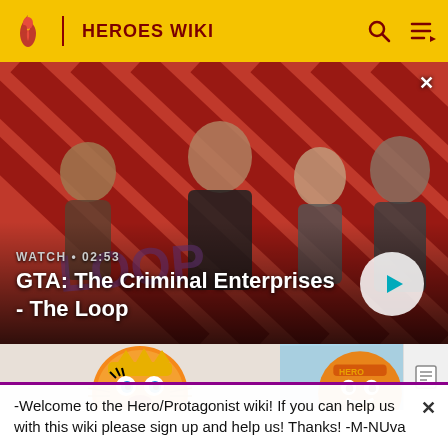HEROES WIKI
[Figure (screenshot): Video banner showing GTA: The Criminal Enterprises - The Loop promotional image with characters on a red diagonal striped background. Shows WATCH • 02:53 label and a play button.]
GTA: The Criminal Enterprises - The Loop
[Figure (screenshot): Two thumbnail images side by side showing cartoon orange character faces (appears to be from a video game or animated series)]
-Welcome to the Hero/Protagonist wiki! If you can help us with this wiki please sign up and help us! Thanks! -M-NUva